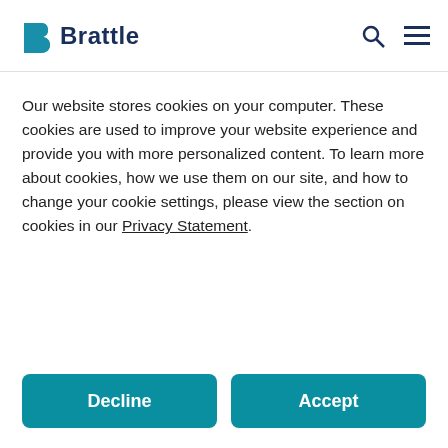Brattle
We congratulate Brattle Senior Associate Dr. Brent Lutes on his appointment as the inaugural
Our website stores cookies on your computer. These cookies are used to improve your website experience and provide you with more personalized content. To learn more about cookies, how we use them on our site, and how to change your cookie settings, please view the section on cookies in our Privacy Statement.
Decline
Accept
Dr. Lutes will also serve as a principal copyright